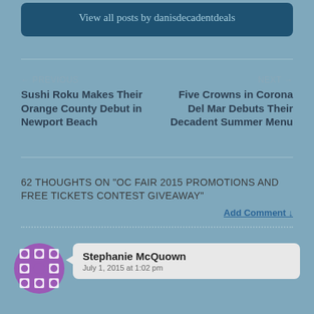View all posts by danisdecadentdeals
← PREVIOUS
Sushi Roku Makes Their Orange County Debut in Newport Beach
NEXT →
Five Crowns in Corona Del Mar Debuts Their Decadent Summer Menu
62 THOUGHTS ON "OC FAIR 2015 PROMOTIONS AND FREE TICKETS CONTEST GIVEAWAY"
Add Comment ↓
Stephanie McQuown
July 1, 2015 at 1:02 pm